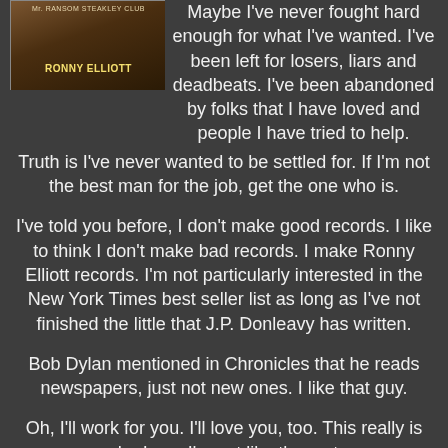[Figure (photo): Book cover for a Ronny Elliott album/book with dark brownish background and the text 'RONNY ELLIOTT' in bold yellow letters]
Maybe I've never fought hard enough for what I've wanted. I've been left for losers, liars and deadbeats. I've been abandoned by folks that I have loved and people I have tried to help.
Truth is I've never wanted to be settled for. If I'm not the best man for the job, get the one who is.
I've told you before, I don't make good records. I like to think I don't make bad records. I make Ronny Elliott records. I'm not particularly interested in the New York Times best seller list as long as I've not finished the little that J.P. Donleavy has written.
Bob Dylan mentioned in Chronicles that he reads newspapers, just not new ones. I like that guy.
Oh, I'll work for you. I'll love you, too. This really is who I am. I'm not like the rest.
You're not too busy to love. You can do that while you watch...